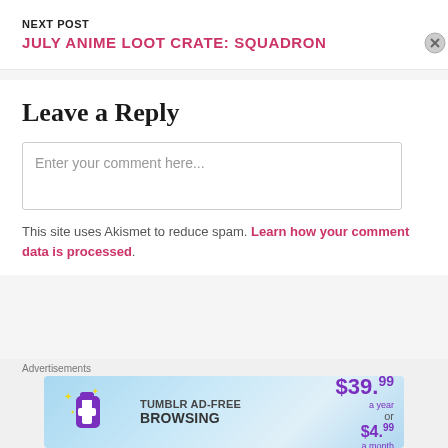NEXT POST
JULY ANIME LOOT CRATE: SQUADRON
Leave a Reply
Enter your comment here...
This site uses Akismet to reduce spam. Learn how your comment data is processed.
Advertisements
[Figure (other): Tumblr Ad-Free Browsing advertisement banner showing $39.99 a year or $4.99 a month]